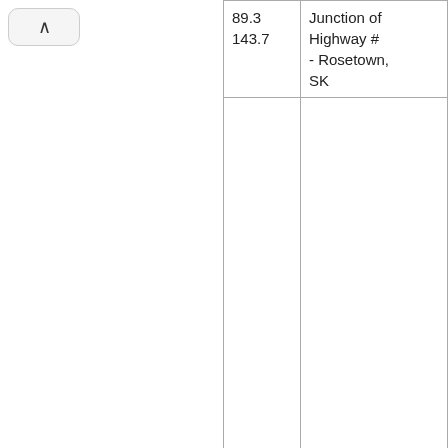[Figure (other): Back/up navigation button with caret symbol in top-left corner]
| 89.3
143.7 | Junction of Highway #
- Rosetown,
SK |
|  |  |
| 92.4
148.7 | Highway Exit |
| 95.1
153.0 | Highway Exit |